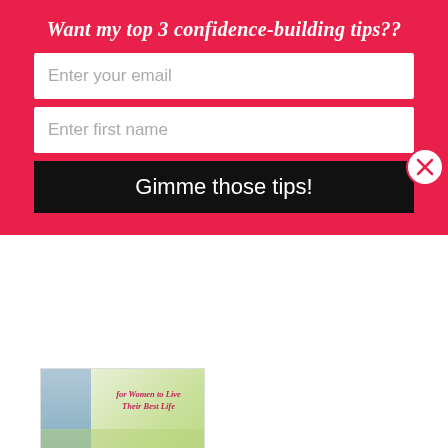Want my top 3 confidence-building tips??
Enter your email
Enter first name
Gimme those tips!
[Figure (photo): A thumbnail image showing text 'for Women to Live Their Best Life' over a light outdoor background]
3 Self-care Ideas for Women to Live a Better Life
Last minute shopping on the Macy's app!
December 20, 2021
In "Lifestyle"
Last Minute Shopping on the Macy's App
December 20, 2021
In "Christmas"